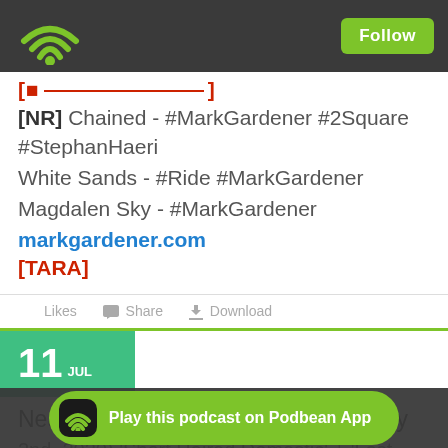Podbean app header with WiFi logo and Follow button
[NR] Chained - #MarkGardener #2Square #StephanHaeri
White Sands - #Ride #MarkGardener
Magdalen Sky - #MarkGardener
markgardener.com
[TARA]
Likes  Share  Download
11 JUL
Near Perfect Pitch - Episode 148 (July 2nd. 2020) 'Short Haired Domestic' + 'Last Night From Gla...
Play this podcast on Podbean App